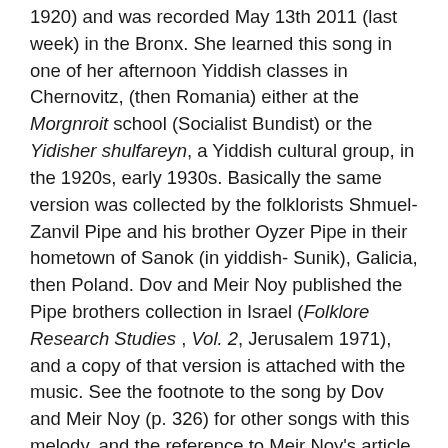1920) and was recorded May 13th 2011 (last week) in the Bronx. She learned this song in one of her afternoon Yiddish classes in Chernovitz, (then Romania) either at the Morgnroit school (Socialist Bundist) or the Yidisher shulfareyn, a Yiddish cultural group, in the 1920s, early 1930s. Basically the same version was collected by the folklorists Shmuel-Zanvil Pipe and his brother Oyzer Pipe in their hometown of Sanok (in yiddish- Sunik), Galicia, then Poland. Dov and Meir Noy published the Pipe brothers collection in Israel (Folklore Research Studies , Vol. 2, Jerusalem 1971),  and a copy of that version is attached with the music. See the footnote to the song by Dov and Meir Noy (p. 326) for other songs with this melody, and the reference to Meir Noy's article mentioned above.